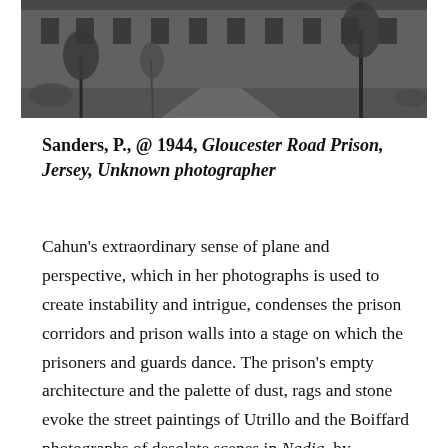[Figure (photo): Black and white photograph of Gloucester Road Prison, Jersey, showing the prison exterior with trees and paths]
Sanders, P., @ 1944, Gloucester Road Prison, Jersey, Unknown photographer
Cahun's extraordinary sense of plane and perspective, which in her photographs is used to create instability and intrigue, condenses the prison corridors and prison walls into a stage on which the prisoners and guards dance. The prison's empty architecture and the palette of dust, rags and stone evoke the street paintings of Utrillo and the Boiffard photographs of desolate scenes in Nadja, by